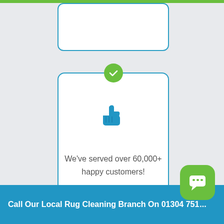[Figure (screenshot): Partial white card with blue border at the top of the page, partially cut off]
[Figure (infographic): White card with blue border, green checkmark circle at top, blue thumbs up icon in center, text reading 'We've served over 60,000+ happy customers!']
We've served over 60,000+ happy customers!
Call Our Local Rug Cleaning Branch On 01304 75....